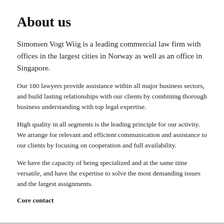About us
Simonsen Vogt Wiig is a leading commercial law firm with offices in the largest cities in Norway as well as an office in Singapore.
Our 180 lawyers provide assistance within all major business sectors, and build lasting relationships with our clients by combining thorough business understanding with top legal expertise.
High quality in all segments is the leading principle for our activity. We arrange for relevant and efficient communication and assistance to our clients by focusing on cooperation and full availability.
We have the capacity of being specialized and at the same time versatile, and have the expertise to solve the most demanding issues and the largest assignments.
Core contact